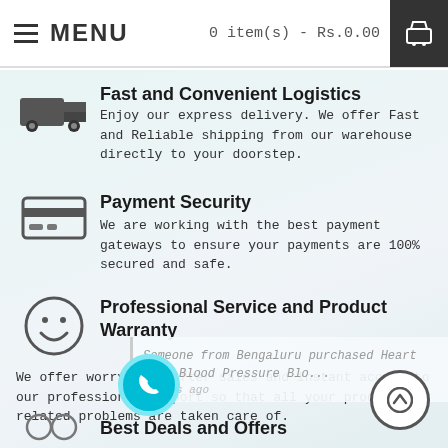MENU   0 item(s) - Rs.0.00
Fast and Convenient Logistics
Enjoy our express delivery. We offer Fast and Reliable shipping from our warehouse directly to your doorstep.
Payment Security
We are working with the best payment gateways to ensure your payments are 100% secured and safe.
Professional Service and Product Warranty
We offer worry free after sales and instant access to our professional support so that all your product related problems are taken care of.
Someone from Bengaluru purchased Heart Rate Blood Pressure Blood Sugar 1 days ago
Best Deals and Offers